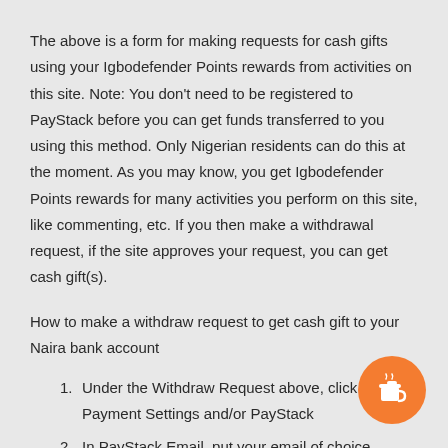The above is a form for making requests for cash gifts using your Igbodefender Points rewards from activities on this site. Note: You don't need to be registered to PayStack before you can get funds transferred to you using this method. Only Nigerian residents can do this at the moment. As you may know, you get Igbodefender Points rewards for many activities you perform on this site, like commenting, etc. If you then make a withdrawal request, if the site approves your request, you can get cash gift(s).
How to make a withdraw request to get cash gift to your Naira bank account
Under the Withdraw Request above, click on Payment Settings and/or PayStack
In PayStack Email, put your email of choice
In Account Number, put your NUBAN...